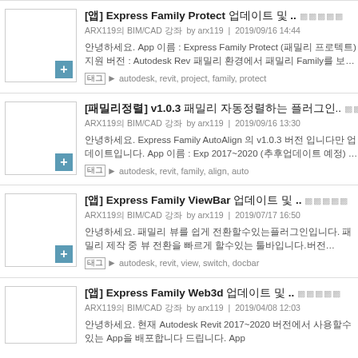[앱] Express Family Protect 업데이트 및 .. ARX119의 BIM/CAD 강좌  by arx119 | 2019/09/16 14:44 안녕하세요. App 이름 : Express Family Protect (패밀리 프로텍트) 지원 버전 : Autodesk Rev 패밀리 환경에서 패밀리 Family를 보호합니다 ㄷ.. autodesk, revit, project, family, protect
[패밀리정렬] v1.0.3 패밀리 자동정렬하는 플러그인.. ARX119의 BIM/CAD 강좌  by arx119 | 2019/09/16 13:30 안녕하세요. Express Family AutoAlign 의 v1.0.3 버전 입니다만 업데이트입니다. App 이름 : Exp 2017~2020 (추후업데이트 예정) 라이선스 : Free App 제작 : Expres.. autodesk, revit, family, align, auto
[앱] Express Family ViewBar 업데이트 및 .. ARX119의 BIM/CAD 강좌  by arx119 | 2019/07/17 16:50 안녕하세요. 패밀리 뷰를 쉽게 전환할수있는플러그인입니다. 패밀리 제작 중 뷰 전환을 빠르게 할수있는 툴바입니다.버전 Autodesk Revit 2019~ ViewB.. autodesk, revit, view, switch, docbar
[앱] Express Family Web3d 업데이트 및 .. ARX119의 BIM/CAD 강좌  by arx119 | 2019/04/08 12:03 안녕하세요. 현재 Autodesk Revit 2017~2020 버전에서 사용할수 있는 App을 배포합니다 드립니다. App